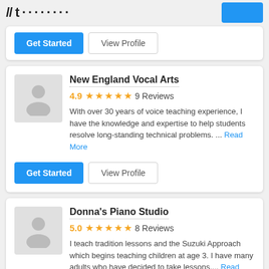Get Started | View Profile
New England Vocal Arts
4.9 ★★★★★ 9 Reviews
With over 30 years of voice teaching experience, I have the knowledge and expertise to help students resolve long-standing technical problems.  ... Read More
Get Started | View Profile
Donna's Piano Studio
5.0 ★★★★★ 8 Reviews
I teach tradition lessons and the Suzuki Approach which begins teaching children at age 3.  I have many adults who have decided to take lessons,... Read More